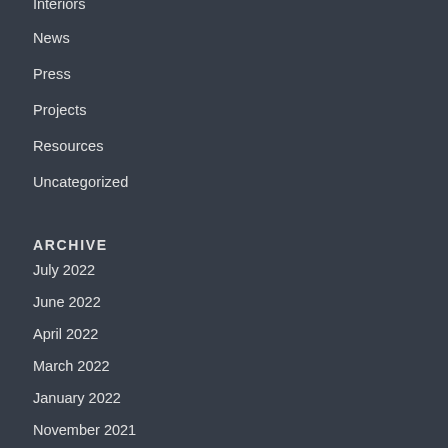Interiors
News
Press
Projects
Resources
Uncategorized
ARCHIVE
July 2022
June 2022
April 2022
March 2022
January 2022
November 2021
September 2021